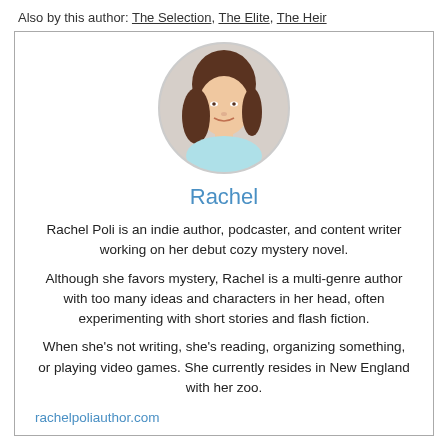Also by this author: The Selection, The Elite, The Heir
[Figure (photo): Circular portrait photo of a young woman with long dark hair, smiling, wearing a light blue top.]
Rachel
Rachel Poli is an indie author, podcaster, and content writer working on her debut cozy mystery novel.
Although she favors mystery, Rachel is a multi-genre author with too many ideas and characters in her head, often experimenting with short stories and flash fiction.
When she's not writing, she's reading, organizing something, or playing video games. She currently resides in New England with her zoo.
rachelpoliauthor.com